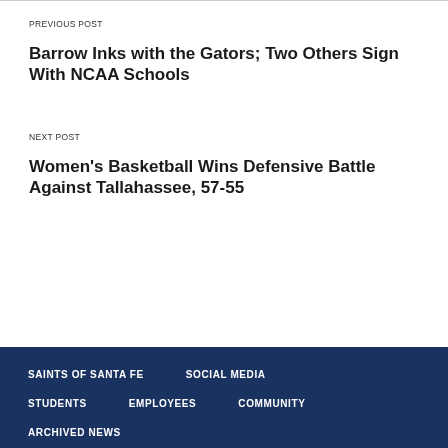PREVIOUS POST
Barrow Inks with the Gators; Two Others Sign With NCAA Schools
NEXT POST
Women's Basketball Wins Defensive Battle Against Tallahassee, 57-55
SAINTS OF SANTA FE
SOCIAL MEDIA
STUDENTS
EMPLOYEES
COMMUNITY
ARCHIVED NEWS